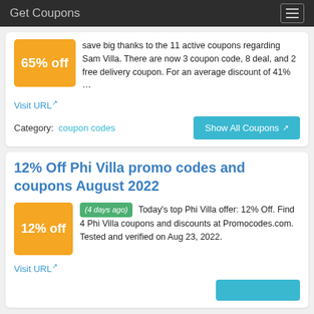Get Coupons
save big thanks to the 11 active coupons regarding Sam Villa. There are now 3 coupon code, 8 deal, and 2 free delivery coupon. For an average discount of 41% …
Visit URL
Category:  coupon codes
Show All Coupons
12% Off Phi Villa promo codes and coupons August 2022
(4 days ago) Today's top Phi Villa offer: 12% Off. Find 4 Phi Villa coupons and discounts at Promocodes.com. Tested and verified on Aug 23, 2022.
Visit URL